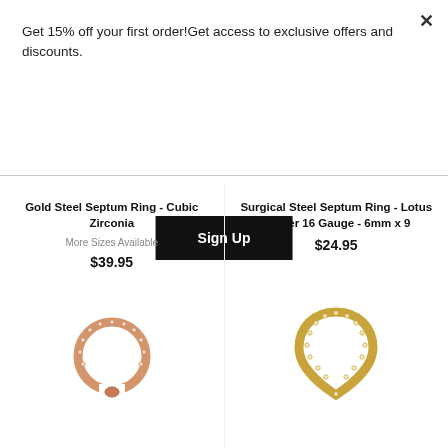Get 15% off your first order!Get access to exclusive offers and discounts.
Sign Up
Gold Steel Septum Ring - Cubic Zirconia
More Sizes Available
$39.95
Surgical Steel Septum Ring - Lotus Flower 16 Gauge - 6mm x 9
$24.95
[Figure (photo): Rose gold septum ring hoop with cubic zirconia stones]
[Figure (photo): Gold teardrop/lotus flower septum ring with cubic zirconia stones]